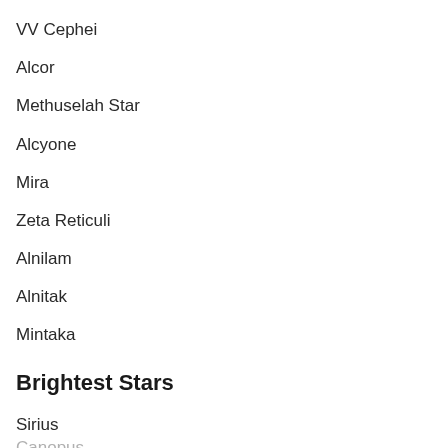VV Cephei
Alcor
Methuselah Star
Alcyone
Mira
Zeta Reticuli
Alnilam
Alnitak
Mintaka
Brightest Stars
Sirius
Canopus